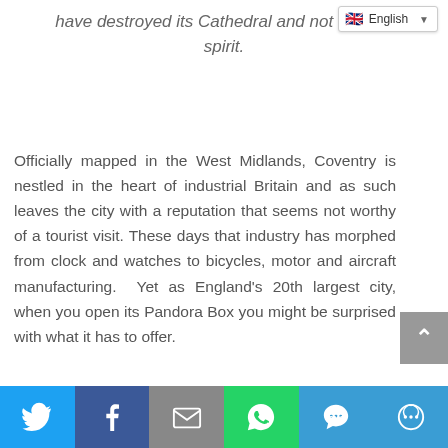have destroyed its Cathedral and not dent its spirit.
Officially mapped in the West Midlands, Coventry is nestled in the heart of industrial Britain and as such leaves the city with a reputation that seems not worthy of a tourist visit. These days that industry has morphed from clock and watches to bicycles, motor and aircraft manufacturing. Yet as England's 20th largest city, when you open its Pandora Box you might be surprised with what it has to offer.
[Figure (other): Social sharing bar with Twitter, Facebook, Email, WhatsApp, SMS, and More buttons]